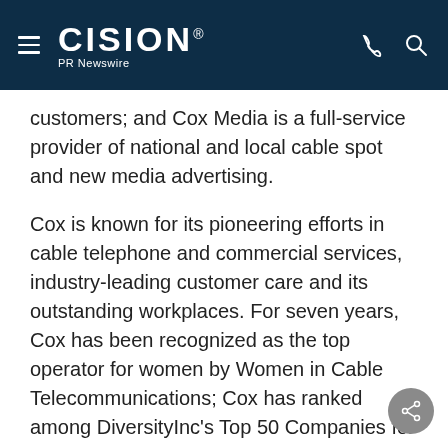CISION PR Newswire
customers; and Cox Media is a full-service provider of national and local cable spot and new media advertising.
Cox is known for its pioneering efforts in cable telephone and commercial services, industry-leading customer care and its outstanding workplaces. For seven years, Cox has been recognized as the top operator for women by Women in Cable Telecommunications; Cox has ranked among DiversityInc's Top 50 Companies for Diversity eight times, including the last seven years. More information about Cox Communications, a wholly owned subsidiary of Cox Enterprises, is available at